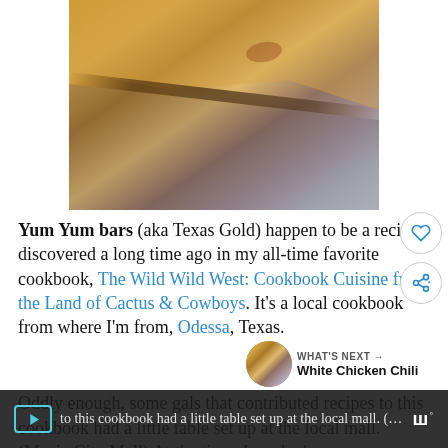[Figure (photo): Close-up photograph of golden-brown baked pastry or flatbread stacked at an angle, showing a warm tan and brown surface with a dark crease/edge, fading into a grey-blue background.]
Yum Yum bars (aka Texas Gold) happen to be a recipe I discovered a long time ago in my all-time favorite cookbook, The Wild Wild West: Cookbook Cuisine from the Land of Cactus & Cowboys. It's a local cookbook from where I'm from, Odessa, Texas.
Oddly enough, some gals that contributed recipes to this cookbook had a little table set up at the local mall. (Music City Mall) At the time, I worked